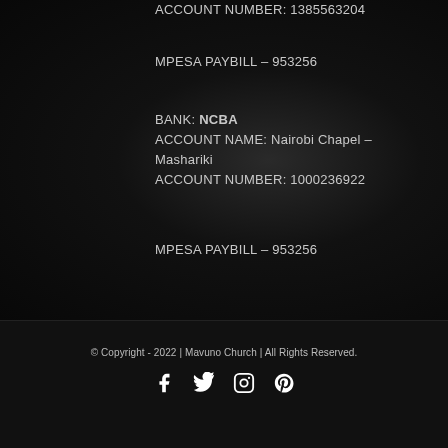ACCOUNT NUMBER: 1385563204
MPESA PAYBILL – 953256
BANK: NCBA
ACCOUNT NAME: Nairobi Chapel – Mashariki
ACCOUNT NUMBER: 1000236922
MPESA PAYBILL – 953256
© Copyright - 2022  |  Mavuno Church  |  All Rights Reserved.